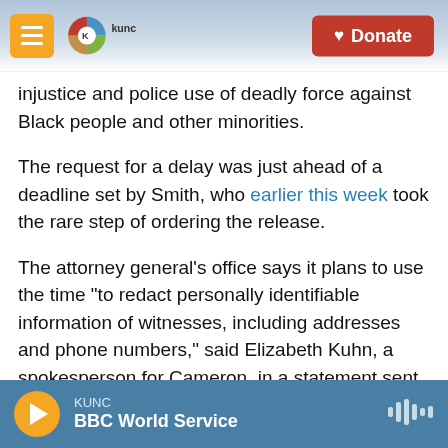KUNC – Donate
injustice and police use of deadly force against Black people and other minorities.
The request for a delay was just ahead of a deadline set by Smith, who earlier this week took the rare step of ordering the release.
The attorney general's office says it plans to use the time "to redact personally identifiable information of witnesses, including addresses and phone numbers," said Elizabeth Kuhn, a spokesperson for Cameron, in a statement sent to NPR.
KUNC – BBC World Service